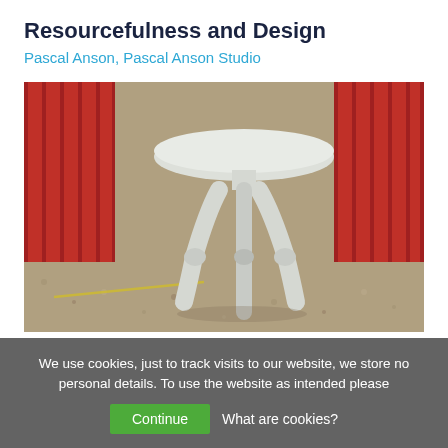Resourcefulness and Design
Pascal Anson, Pascal Anson Studio
[Figure (photo): A white three-legged stool photographed outdoors against a red corrugated metal background on a gravel surface.]
We use cookies, just to track visits to our website, we store no personal details. To use the website as intended please
Continue   What are cookies?